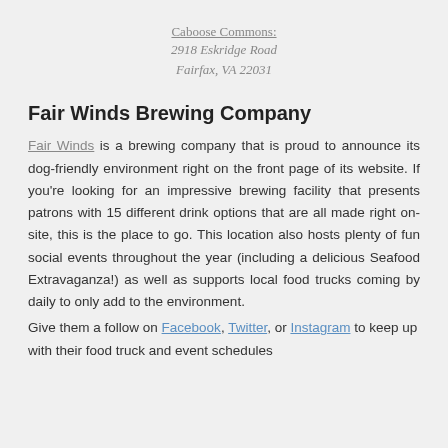Caboose Commons:
2918 Eskridge Road
Fairfax, VA 22031
Fair Winds Brewing Company
Fair Winds is a brewing company that is proud to announce its dog-friendly environment right on the front page of its website. If you're looking for an impressive brewing facility that presents patrons with 15 different drink options that are all made right on-site, this is the place to go. This location also hosts plenty of fun social events throughout the year (including a delicious Seafood Extravaganza!) as well as supports local food trucks coming by daily to only add to the environment.
Give them a follow on Facebook, Twitter, or Instagram to keep up with their food truck and event schedules